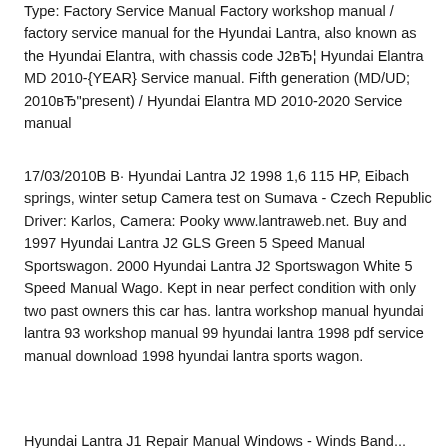Type: Factory Service Manual Factory workshop manual / factory service manual for the Hyundai Lantra, also known as the Hyundai Elantra, with chassis code J2вЂ¦ Hyundai Elantra MD 2010-{YEAR} Service manual. Fifth generation (MD/UD; 2010вЂ"present) / Hyundai Elantra MD 2010-2020 Service manual
17/03/2010В В· Hyundai Lantra J2 1998 1,6 115 HP, Eibach springs, winter setup Camera test on Sumava - Czech Republic Driver: Karlos, Camera: Pooky www.lantraweb.net. Buy and 1997 Hyundai Lantra J2 GLS Green 5 Speed Manual Sportswagon. 2000 Hyundai Lantra J2 Sportswagon White 5 Speed Manual Wago. Kept in near perfect condition with only two past owners this car has. lantra workshop manual hyundai lantra 93 workshop manual 99 hyundai lantra 1998 pdf service manual download 1998 hyundai lantra sports wagon.
Hyundai Lantra J1 Repair Manual Windows - Winds Band...